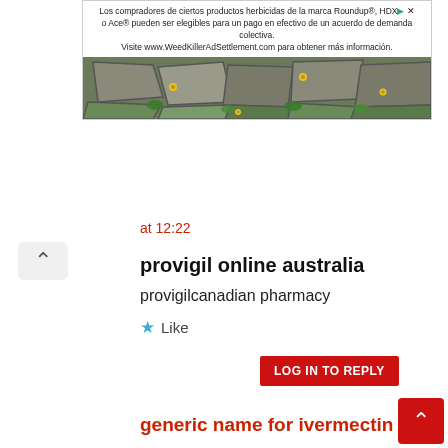[Figure (illustration): Advertisement banner for WeedKillerAdSettlement.com featuring Spanish text about Roundup and Ace herbicide products, with a photo of stone pavers with weeds and yellow flowers.]
at 12:22
provigil online australia
provigilcanadian pharmacy
★ Like
LOG IN TO REPLY
generic name for ivermectin
says:
8 08+00:00 February 08+00:00 2022 at 19:17